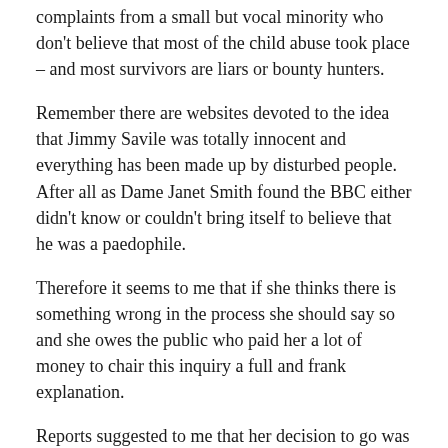complaints from a small but vocal minority who don't believe that most of the child abuse took place – and most survivors are liars or bounty hunters.
Remember there are websites devoted to the idea that Jimmy Savile was totally innocent and everything has been made up by disturbed people. After all as Dame Janet Smith found the BBC either didn't know or couldn't bring itself to believe that he was a paedophile.
Therefore it seems to me that if she thinks there is something wrong in the process she should say so and she owes the public who paid her a lot of money to chair this inquiry a full and frank explanation.
Reports suggested to me that her decision to go was not sudden. She has been seen as a little distant from event ( and not just physically ). There have been suggestions that Home Office officials have tried to capture the direction of an independent inquiry and other